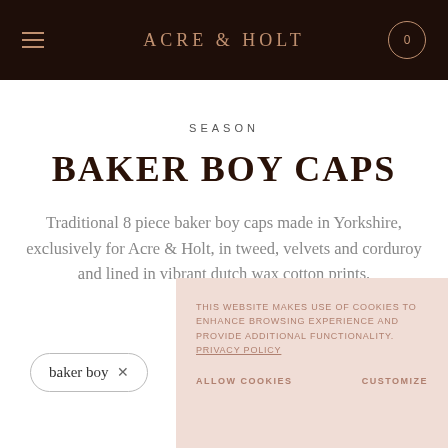ACRE & HOLT
SEASON
BAKER BOY CAPS
Traditional 8 piece baker boy caps made in Yorkshire, exclusively for Acre & Holt, in tweed, velvets and corduroy and lined in vibrant dutch wax cotton prints.
baker boy ×
THIS WEBSITE MAKES USE OF COOKIES TO ENHANCE BROWSING EXPERIENCE AND PROVIDE ADDITIONAL FUNCTIONALITY. PRIVACY POLICY
ALLOW COOKIES    CUSTOMIZE